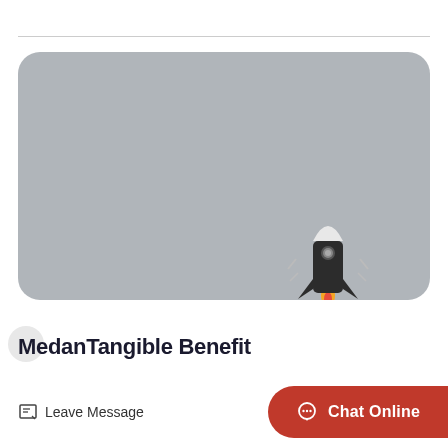[Figure (illustration): Large rounded grey rectangle placeholder image with a rocket ship illustration in the bottom-right corner, launching upward with exhaust clouds below it.]
MedanTangible Benefit
Leave Message
Chat Online